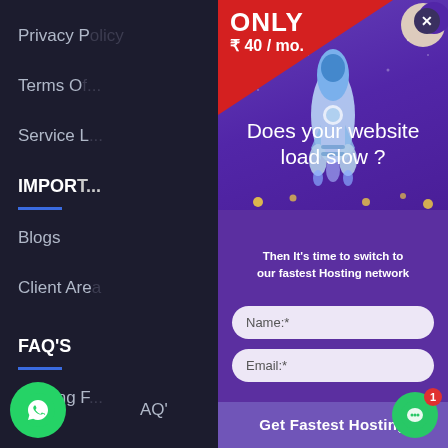Privacy P
Terms O
Service L
IMPOR
Blogs
Client Are
FAQ'S
Hosting F
AQ'
[Figure (screenshot): Web hosting promotional popup modal with red price banner showing ONLY ₹ 40 / mo., heading 'Does your website load slow?', subtext 'Then It's time to switch to our fastest Hosting network', name and email input fields, and a 'Get Fastest Hosting' CTA button. A rocket illustration is shown in the center of the modal. WhatsApp icon bottom-left, chat icon bottom-right.]